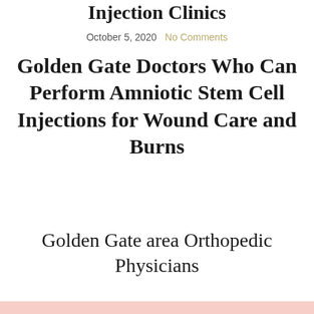Injection Clinics
October 5, 2020  No Comments
Golden Gate Doctors Who Can Perform Amniotic Stem Cell Injections for Wound Care and Burns
Golden Gate area Orthopedic Physicians
[Figure (other): Pink/salmon colored background strip at bottom of page]